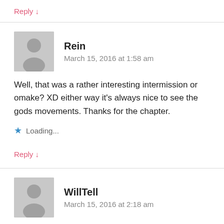Reply ↓
Rein
March 15, 2016 at 1:58 am
Well, that was a rather interesting intermission or omake? XD either way it's always nice to see the gods movements. Thanks for the chapter.
Loading...
Reply ↓
WillTell
March 15, 2016 at 2:18 am